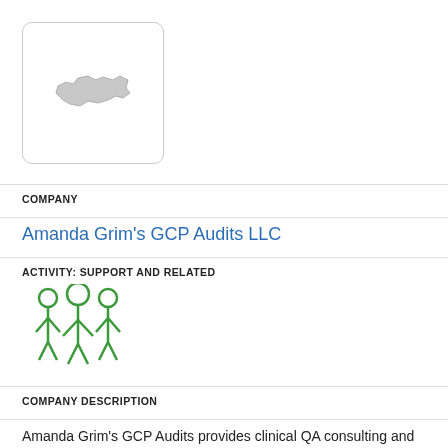[Figure (logo): Company logo placeholder: white box with rounded border containing a gray North Carolina state shape silhouette]
COMPANY
Amanda Grim's GCP Audits LLC
ACTIVITY: SUPPORT AND RELATED
[Figure (illustration): Green icon showing three human figures side by side representing a team or group]
COMPANY DESCRIPTION
Amanda Grim's GCP Audits provides clinical QA consulting and auditing services related to risk-based quality strategies, audits, training, SOP development and gap analyses.
LOCATION
Carolina Beach